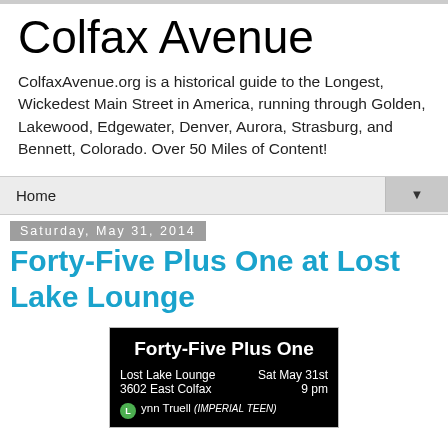Colfax Avenue
ColfaxAvenue.org is a historical guide to the Longest, Wickedest Main Street in America, running through Golden, Lakewood, Edgewater, Denver, Aurora, Strasburg, and Bennett, Colorado. Over 50 Miles of Content!
Home
Saturday, May 31, 2014
Forty-Five Plus One at Lost Lake Lounge
[Figure (screenshot): Event flyer on black background: 'Forty-Five Plus One', Lost Lake Lounge, 3602 East Colfax, Sat May 31st, 9 pm, with Lynn Truell (IMPERIAL TEEN)]